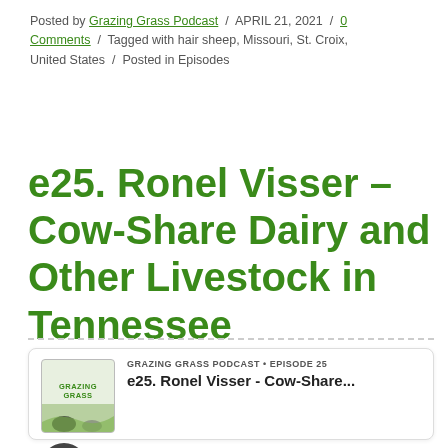Posted by Grazing Grass Podcast / APRIL 21, 2021 / 0 Comments / Tagged with hair sheep, Missouri, St. Croix, United States / Posted in Episodes
e25. Ronel Visser – Cow-Share Dairy and Other Livestock in Tennessee
[Figure (screenshot): Podcast audio player widget showing Grazing Grass Podcast Episode 25, with podcast thumbnail, episode title 'e25. Ronel Visser - Cow-Share...', play button, progress bar, playback controls, and time display showing 00:00|33:50]